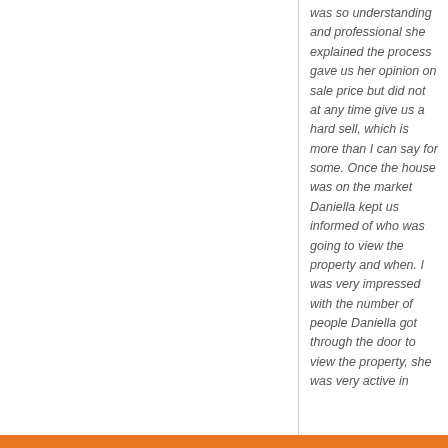was so understanding and professional she explained the process gave us her opinion on sale price but did not at any time give us a hard sell, which is more than I can say for some. Once the house was on the market Daniella kept us informed of who was going to view the property and when. I was very impressed with the number of people Daniella got through the door to view the property, she was very active in